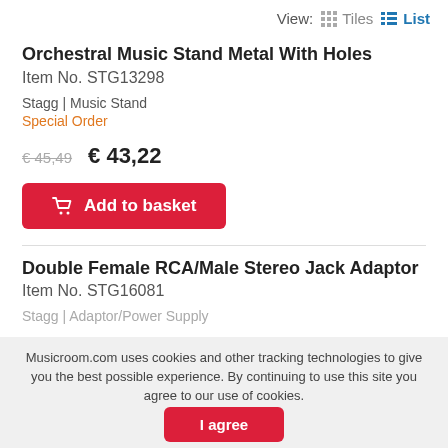View: Tiles List
Orchestral Music Stand Metal With Holes
Item No. STG13298
Stagg | Music Stand
Special Order
€45,49  € 43,22
Add to basket
Double Female RCA/Male Stereo Jack Adaptor
Item No. STG16081
Stagg | Adaptor/Power Supply
Musicroom.com uses cookies and other tracking technologies to give you the best possible experience. By continuing to use this site you agree to our use of cookies.
I agree